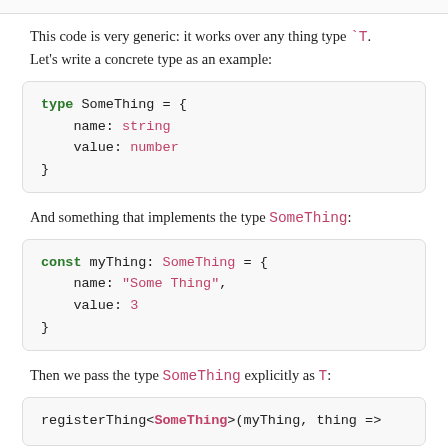This code is very generic: it works over any thing type `T. Let's write a concrete type as an example:
And something that implements the type SomeThing:
Then we pass the type SomeThing explicitly as T: